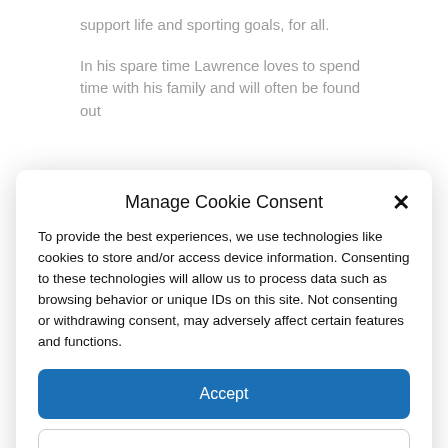support life and sporting goals, for all.
In his spare time Lawrence loves to spend time with his family and will often be found out
Manage Cookie Consent
To provide the best experiences, we use technologies like cookies to store and/or access device information. Consenting to these technologies will allow us to process data such as browsing behavior or unique IDs on this site. Not consenting or withdrawing consent, may adversely affect certain features and functions.
Accept
Deny
View preferences
Privacy Policy  Privacy Policy